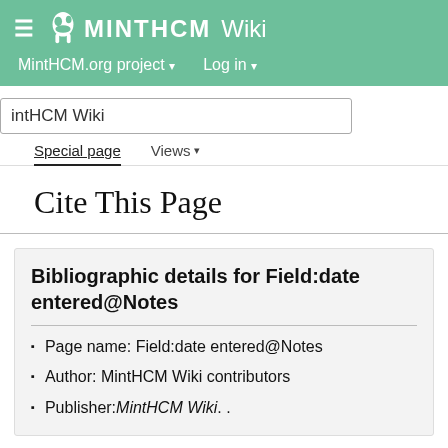MintHCM Wiki — MintHCM.org project | Log in
intHCM Wiki
Special page | Views
Cite This Page
Bibliographic details for Field:date entered@Notes
Page name: Field:date entered@Notes
Author: MintHCM Wiki contributors
Publisher: MintHCM Wiki. .